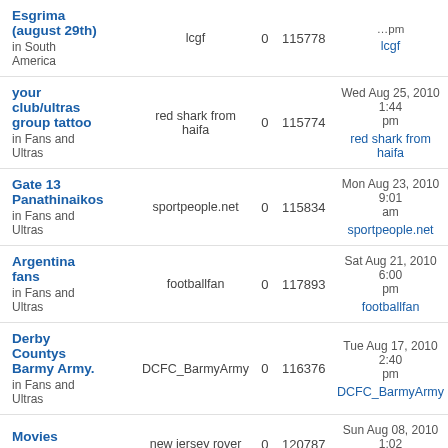| Topic | Author | Replies | Views | Last post |
| --- | --- | --- | --- | --- |
| Esgrima (august 29th)
in South America | lcgf | 0 | 115778 | lcgf |
| your club/ultras group tattoo
in Fans and Ultras | red shark from haifa | 0 | 115774 | Wed Aug 25, 2010 1:44 pm
red shark from haifa |
| Gate 13 Panathinaikos
in Fans and Ultras | sportpeople.net | 0 | 115834 | Mon Aug 23, 2010 9:01 am
sportpeople.net |
| Argentina fans
in Fans and Ultras | footballfan | 0 | 117893 | Sat Aug 21, 2010 6:00 pm
footballfan |
| Derby Countys Barmy Army.
in Fans and Ultras | DCFC_BarmyArmy | 0 | 116376 | Tue Aug 17, 2010 2:40 pm
DCFC_BarmyArmy |
| Movies
in Derby Cafe | new jersey rover | 0 | 120787 | Sun Aug 08, 2010 1:02 am |